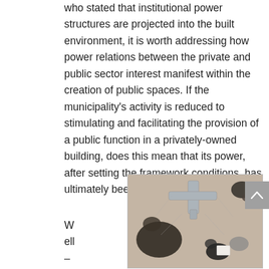who stated that institutional power structures are projected into the built environment, it is worth addressing how power relations between the private and public sector interest manifest within the creation of public spaces. If the municipality's activity is reduced to stimulating and facilitating the provision of a public function in a privately-owned building, does this mean that its power, after setting the framework conditions, has ultimately been played out?
[Figure (photo): Overhead/bird's eye view photograph of people and objects on a sandy or concrete floor, including what appears to be a cross-shaped or airplane-shaped cutout and several people seated or crouching around it.]
W ell – on th